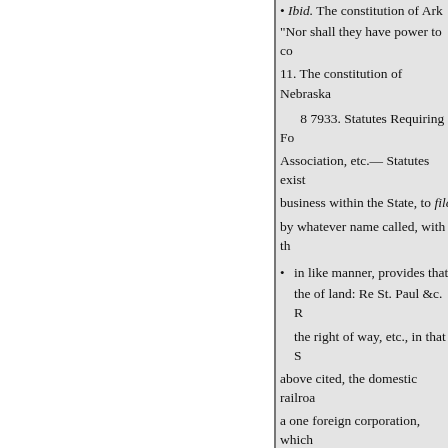• Ibid. The constitution of Ark... "Nor shall they have power to co... 11. The constitution of Nebraska...
8 7933. Statutes Requiring Fo... Association, etc.— Statutes exist... business within the State, to file ... by whatever name called, with th...
in like manner, provides that ... the of land: Re St. Paul &c. R... the right of way, etc., in that S... above cited, the domestic railroa... a one foreign corporation, which... substance of the decisions was th... thereafter the services of another... 628; Koenig v. means of effectin... acquire depot facilities: State 43... Chiroad company must, before it... incorporated under the N. W. Re... held in New York that the pra. U... to an injunction against the lease... corporate existence to a foreign c... ac8 railroad company, incorpora... turn: Re New York 8 c. R. Co...